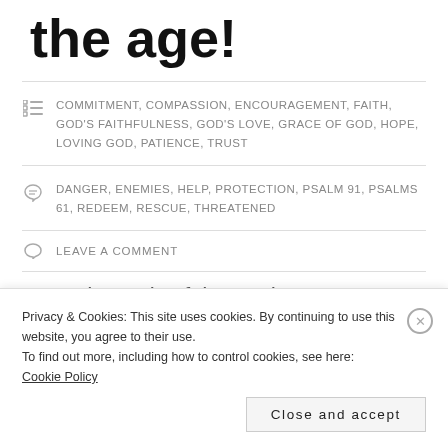the age!
COMMITMENT, COMPASSION, ENCOURAGEMENT, FAITH, GOD'S FAITHFULNESS, GOD'S LOVE, GRACE OF GOD, HOPE, LOVING GOD, PATIENCE, TRUST
DANGER, ENEMIES, HELP, PROTECTION, PSALM 91, PSALMS 61, REDEEM, RESCUE, THREATENED
LEAVE A COMMENT
From the ends of the earth, I cry to you for help when
Privacy & Cookies: This site uses cookies. By continuing to use this website, you agree to their use. To find out more, including how to control cookies, see here: Cookie Policy
Close and accept